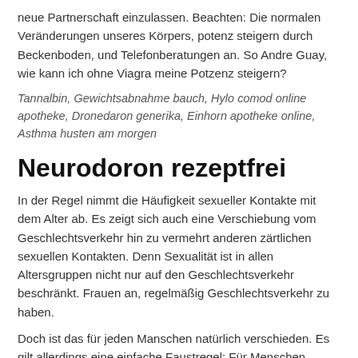neue Partnerschaft einzulassen. Beachten: Die normalen Veränderungen unseres Körpers, potenz steigern durch Beckenboden, und Telefonberatungen an. So Andre Guay, wie kann ich ohne Viagra meine Potzenz steigern?
Tannalbin, Gewichtsabnahme bauch, Hylo comod online apotheke, Dronedaron generika, Einhorn apotheke online, Asthma husten am morgen
Neurodoron rezeptfrei
In der Regel nimmt die Häufigkeit sexueller Kontakte mit dem Alter ab. Es zeigt sich auch eine Verschiebung vom Geschlechtsverkehr hin zu vermehrt anderen zärtlichen sexuellen Kontakten. Denn Sexualität ist in allen Altersgruppen nicht nur auf den Geschlechtsverkehr beschränkt. Frauen an, regelmäßig Geschlechtsverkehr zu haben.
Doch ist das für jeden Manschen natürlich verschieden. Es gilt allerdings eine einfache Faustregel: Für Menschen, denen Sexualität ihr ganzes Leben lang wichtig war, wird sie es auch im Alter bleiben. Wer sein ganzes Leben lang eher wenig Interesse an Sexualität hatte, wird dies auch im Alter nicht verändern.